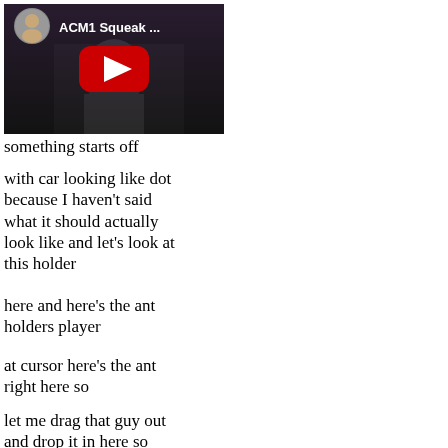[Figure (screenshot): YouTube video thumbnail showing a person at a podium/laptop with title 'ACM1 Squeak ...' and a red play button, with a small circular profile photo in the top left corner.]
something starts off
with car looking like dot because I haven't said what it should actually look like and let's look at this holder
here and here's the ant holders player
at cursor here's the ant right here so
let me drag that guy out and drop it in here so